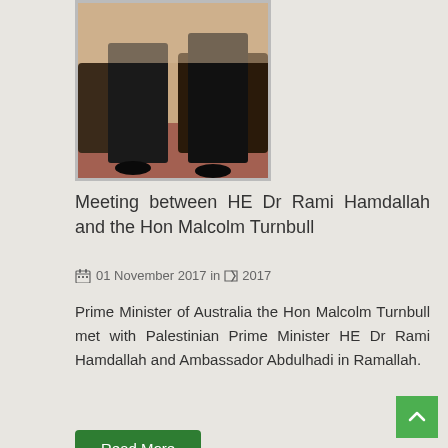[Figure (photo): Photo showing people seated in chairs in a formal meeting setting, visible from waist down]
Meeting between HE Dr Rami Hamdallah and the Hon Malcolm Turnbull
01 November 2017 in 2017
Prime Minister of Australia the Hon Malcolm Turnbull met with Palestinian Prime Minister HE Dr Rami Hamdallah and Ambassador Abdulhadi in Ramallah.
[Figure (photo): Group photo of five men in suits standing in a room with framed pictures on the wall]